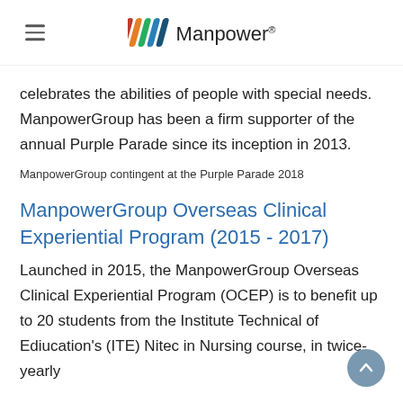Manpower®
celebrates the abilities of people with special needs. ManpowerGroup has been a firm supporter of the annual Purple Parade since its inception in 2013.
ManpowerGroup contingent at the Purple Parade 2018
ManpowerGroup Overseas Clinical Experiential Program (2015 - 2017)
Launched in 2015, the ManpowerGroup Overseas Clinical Experiential Program (OCEP) is to benefit up to 20 students from the Institute Technical of Ediucation's (ITE) Nitec in Nursing course, in twice-yearly